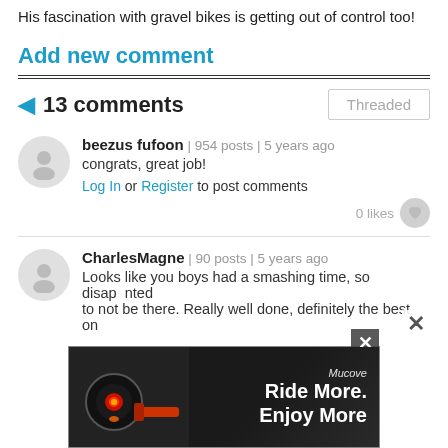His fascination with gravel bikes is getting out of control too!
Add new comment
13 comments
beezus fufoon | 954 posts | 5 years ago
congrats, great job!
Log In or Register to post comments
0 likes
CharlesMagne | 90 posts | 5 years ago
Looks like you boys had a smashing time, so disappointed to not be there. Really well done, definitely the best on
[Figure (advertisement): Ad banner: red bike light glowing, text 'Ride More. Enjoy More' with brand logo, close button]